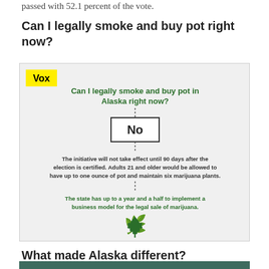passed with 52.1 percent of the vote.
Can I legally smoke and buy pot right now?
[Figure (infographic): Vox infographic showing a flowchart answering 'Can I legally smoke and buy pot in Alaska right now?' with answer 'No', followed by explanations that the initiative won't take effect until 90 days after certification, adults 21 and older allowed up to one ounce and six plants, and the state has up to a year and a half to implement a business model for legal marijuana sale. Ends with a marijuana leaf icon.]
What made Alaska different?
[Figure (photo): Dark teal/green colored image at the bottom of the page, partially visible.]